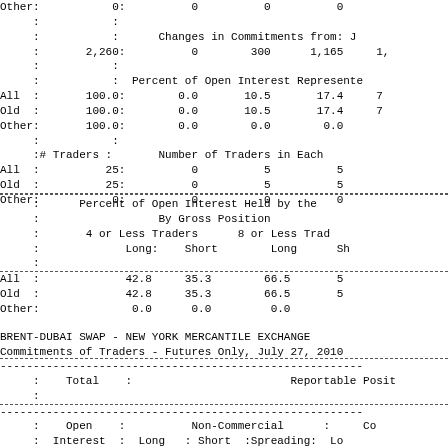| Other: | 0: | 0 | 0 | 0 |
|  | : |  |
|  | : | Changes in Commitments from: J |
|  | 2,260: | 0 | 300 | 1,165 | 1, |
|  | : |  |
|  | : | Percent of Open Interest Represented |
| All | 100.0: | 0.0 | 10.5 | 17.4 | 7 |
| Old | 100.0: | 0.0 | 10.5 | 17.4 | 7 |
| Other: | 100.0: | 0.0 | 0.0 | 0.0 |
|  | : |  |
|  | :# Traders : | Number of Traders in Each |
| All | 25: | 0 | 5 | 5 |
| Old | 25: | 0 | 5 | 5 |
| Other: | 0: | 0 | 0 | 0 |
|  | Percent of Open Interest Held by the |
|  | By Gross Position |
|  | 4 or Less Traders | 8 or Less Trad |
|  | Long: | Short | Long | Sh |
| All | 42.8 | 35.3 | 66.5 | 5 |
| Old | 42.8 | 35.3 | 66.5 | 5 |
| Other: | 0.0 | 0.0 | 0.0 |
BRENT-DUBAI SWAP - NEW YORK MERCANTILE EXCHANGE
Commitments of Traders - Futures Only, July 27, 2010
| Total | Reportable Posit |
| --- | --- |
| Open | Non-Commercial | Co |
| Interest | Long | Short | Spreading | Lo |